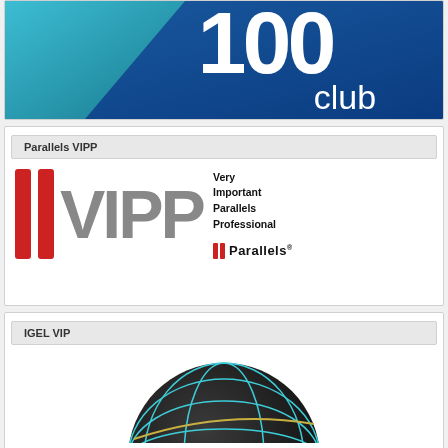[Figure (logo): 100 Club logo banner with blue gradient background and large white text '100 club']
Parallels VIPP
[Figure (logo): Parallels VIPP logo with two red vertical bars, large grey VIPP text, text 'Very Important Parallels Professional' and Parallels brand logo]
IGEL VIP
[Figure (logo): IGEL VIP globe logo - dark sphere with cyan/teal grid lines partially visible]